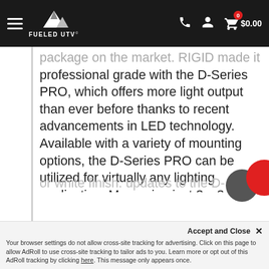Fueled UTV - navigation bar with logo, phone, account, and cart ($0.00)
package on the market. RIGID made it professional grade with the D-Series PRO, which offers more light output than ever before thanks to recent advancements in LED technology. Available with a variety of mounting options, the D-Series PRO can be utilized for virtually any lighting application. Measuring just 3 x 3 Inches, the D-Series PRO packs a powerful punch up to 102 percent more raw lumens with PRO. RIGID’s D-Series PRO lights are available with either a black or white finish. updates to the D-
or white finish. updates to the D-
blacked out circuit boards for a more
Accept and Close ×
Your browser settings do not allow cross-site tracking for advertising. Click on this page to allow AdRoll to use cross-site tracking to tailor ads to you. Learn more or opt out of this AdRoll tracking by clicking here. This message only appears once.